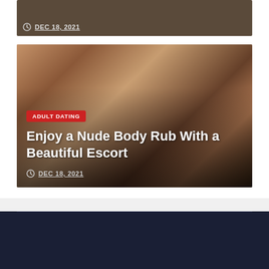[Figure (photo): Partial top image clipped at top of page with dark/warm tones, showing date DEC 18, 2021]
DEC 18, 2021
[Figure (photo): Photo of a woman smiling, with a category badge ADULT DATING, title Enjoy a Nude Body Rub With a Beautiful Escort, and date DEC 18, 2021]
ADULT DATING
Enjoy a Nude Body Rub With a Beautiful Escort
DEC 18, 2021
Newberlin Adult